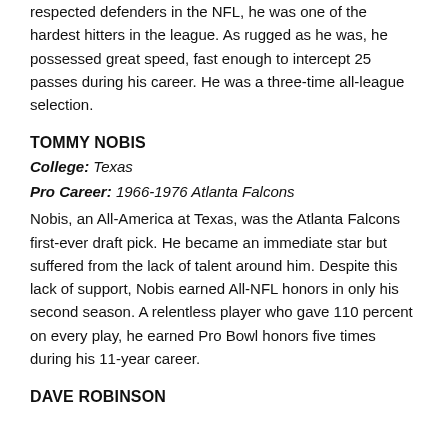respected defenders in the NFL, he was one of the hardest hitters in the league. As rugged as he was, he possessed great speed, fast enough to intercept 25 passes during his career. He was a three-time all-league selection.
TOMMY NOBIS
College: Texas
Pro Career: 1966-1976 Atlanta Falcons
Nobis, an All-America at Texas, was the Atlanta Falcons first-ever draft pick. He became an immediate star but suffered from the lack of talent around him. Despite this lack of support, Nobis earned All-NFL honors in only his second season. A relentless player who gave 110 percent on every play, he earned Pro Bowl honors five times during his 11-year career.
DAVE ROBINSON